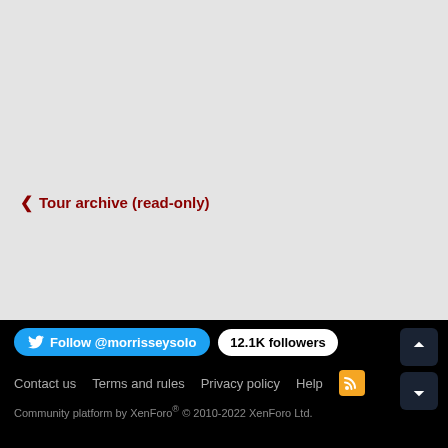< Tour archive (read-only)
Follow @morrisseysolo  12.1K followers  Contact us  Terms and rules  Privacy policy  Help  Community platform by XenForo® © 2010-2022 XenForo Ltd.